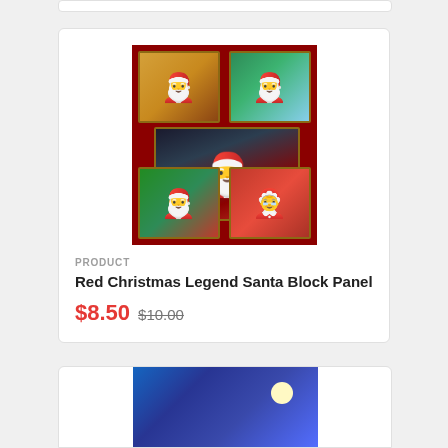[Figure (photo): Red Christmas Legend Santa Block Panel fabric product image showing a red background with five framed panels depicting Santa Claus in various poses]
PRODUCT
Red Christmas Legend Santa Block Panel
$8.50 $10.00
[Figure (photo): Partial view of a second product card showing a blue Christmas scene with cats on a reindeer sleigh and a moon]